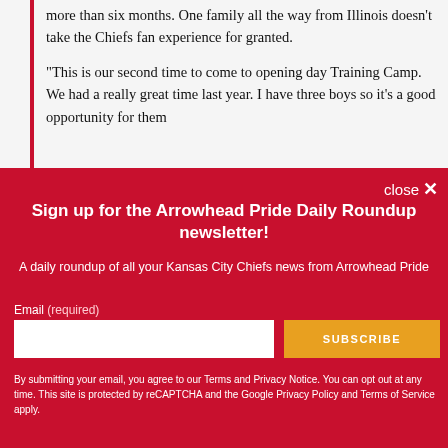more than six months. One family all the way from Illinois doesn't take the Chiefs fan experience for granted.
"This is our second time to come to opening day Training Camp. We had a really great time last year. I have three boys so it's a good opportunity for them
close ✕
Sign up for the Arrowhead Pride Daily Roundup newsletter!
A daily roundup of all your Kansas City Chiefs news from Arrowhead Pride
Email (required)
SUBSCRIBE
By submitting your email, you agree to our Terms and Privacy Notice. You can opt out at any time. This site is protected by reCAPTCHA and the Google Privacy Policy and Terms of Service apply.